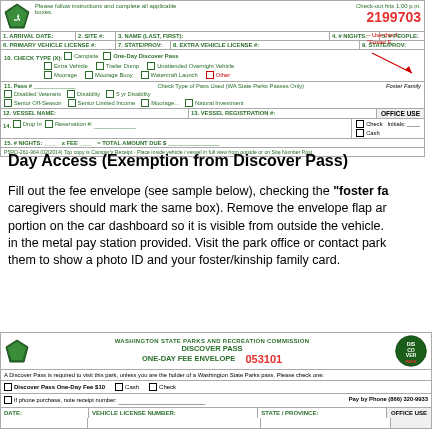[Figure (other): Washington State Parks camping/registration fee envelope form with fields for arrival date, site number, name, vehicle license, check type options including Foster Family, vessel name, drop-in/reservation, nights, fee, and total amount due. Form number 2199703 printed in red.]
Day Access (Exemption from Discover Pass)
Fill out the fee envelope (see sample below), checking the "foster family" box (foster caregivers should mark the same box). Remove the envelope flap and place the lower portion on the car dashboard so it is visible from outside the vehicle. Drop the envelope in the metal pay station provided. Visit the park office or contact park staff and be prepared to show them to show a photo ID and your foster/kinship family card.
[Figure (other): Washington State Parks and Recreation Commission Discover Pass One-Day Fee Envelope with number 053101. Contains fields for Discover Pass One-Day Fee $10, Cash, Check, phone purchase receipt number, Pay by Phone (866) 320-9933, and a table with DATE, VEHICLE LICENSE NUMBER, STATE/PROVINCE, and OFFICE USE columns.]